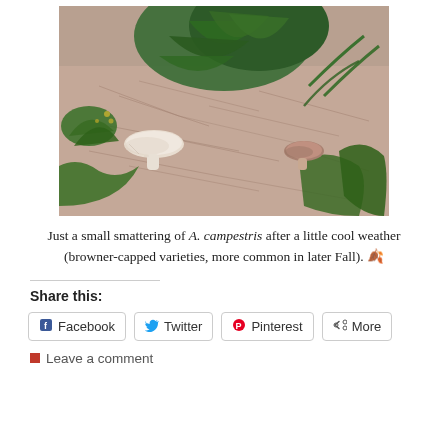[Figure (photo): Outdoor photo of mushrooms (Agaricus campestris) on the ground among dry pine needles and green plants/grass. Two mushrooms visible — one larger with a white/beige cap on the left, one smaller brownish-capped on the right.]
Just a small smattering of A. campestris after a little cool weather (browner-capped varieties, more common in later Fall). 🍂
Share this:
Facebook  Twitter  Pinterest  More
Leave a comment